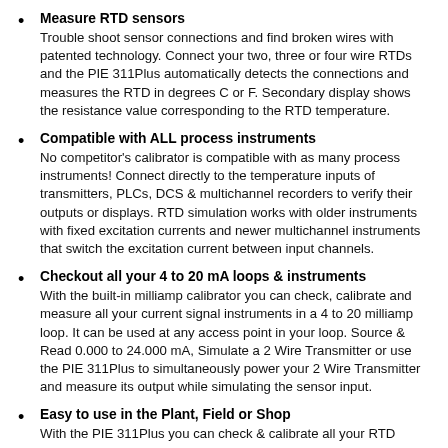Measure RTD sensors
Trouble shoot sensor connections and find broken wires with patented technology. Connect your two, three or four wire RTDs and the PIE 311Plus automatically detects the connections and measures the RTD in degrees C or F. Secondary display shows the resistance value corresponding to the RTD temperature.
Compatible with ALL process instruments
No competitor's calibrator is compatible with as many process instruments! Connect directly to the temperature inputs of transmitters, PLCs, DCS & multichannel recorders to verify their outputs or displays. RTD simulation works with older instruments with fixed excitation currents and newer multichannel instruments that switch the excitation current between input channels.
Checkout all your 4 to 20 mA loops & instruments
With the built-in milliamp calibrator you can check, calibrate and measure all your current signal instruments in a 4 to 20 milliamp loop. It can be used at any access point in your loop. Source & Read 0.000 to 24.000 mA, Simulate a 2 Wire Transmitter or use the PIE 311Plus to simultaneously power your 2 Wire Transmitter and measure its output while simulating the sensor input.
Easy to use in the Plant, Field or Shop
With the PIE 311Plus you can check & calibrate all your RTD instruments, measure RTD Sensors, and calibrate 4 to 20 milliamp instruments. Automatic indication of connections on